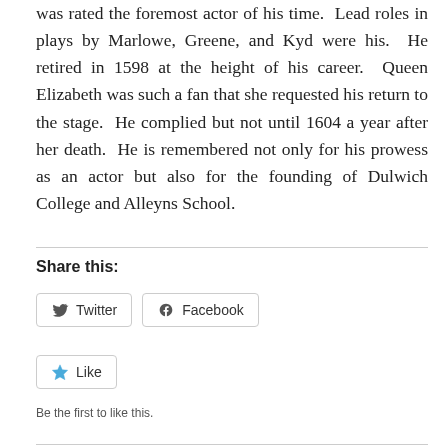was rated the foremost actor of his time.  Lead roles in plays by Marlowe, Greene, and Kyd were his.  He retired in 1598 at the height of his career.  Queen Elizabeth was such a fan that she requested his return to the stage.  He complied but not until 1604 a year after her death.  He is remembered not only for his prowess as an actor but also for the founding of Dulwich College and Alleyns School.
Share this:
[Figure (other): Twitter and Facebook share buttons, and a Like button with 'Be the first to like this.' caption]